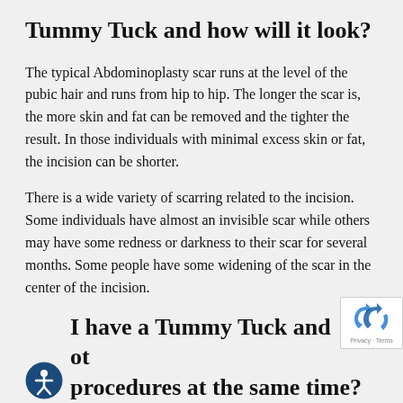Tummy Tuck and how will it look?
The typical Abdominoplasty scar runs at the level of the pubic hair and runs from hip to hip. The longer the scar is, the more skin and fat can be removed and the tighter the result. In those individuals with minimal excess skin or fat, the incision can be shorter.
There is a wide variety of scarring related to the incision. Some individuals have almost an invisible scar while others may have some redness or darkness to their scar for several months. Some people have some widening of the scar in the center of the incision.
I have a Tummy Tuck and other procedures at the same time?